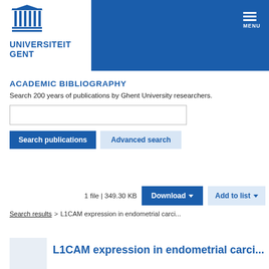[Figure (logo): Ghent University logo with temple/columns icon and text UNIVERSITEIT GENT in blue]
MENU
ACADEMIC BIBLIOGRAPHY
Search 200 years of publications by Ghent University researchers.
Search publications | Advanced search
1 file | 349.30 KB   Download ▾   Add to list ▾
Search results > L1CAM expression in endometrial carci...
L1CAM expression in endometrial carci...